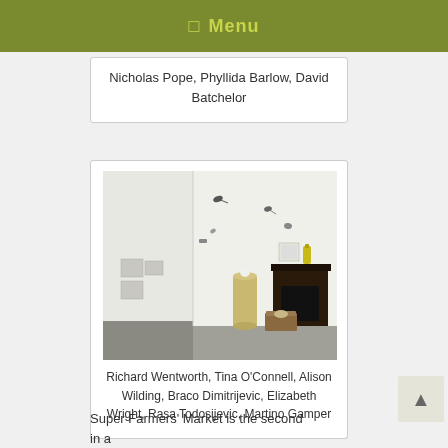Menu
Nicholas Pope, Phyllida Barlow, David Batchelor
[Figure (photo): Gallery interior showing white walls with small sculptural objects mounted at various heights, a cylindrical pedestal, a dark Victorian fireplace mantel with a yellow bottle, a framed picture, a wooden box on the floor, and small items on the walls.]
Richard Wentworth, Tina O'Connell, Alison Wilding, Braco Dimitrijevic, Elizabeth Wright, Rasa Todosijevic, Martino Gamper
Super Farmers' Market is the second in a